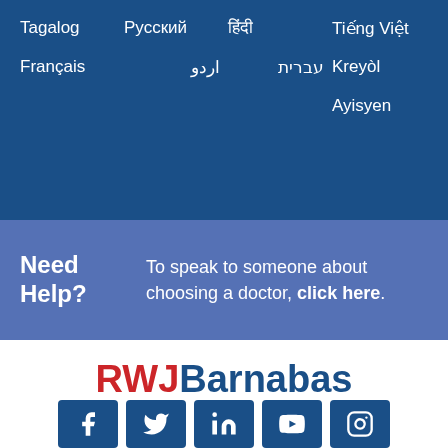Tagalog
Русский
हिंदी
Tiếng Việt
Français
اردو
עברית
Kreyòl
Ayisyen
Need Help? To speak to someone about choosing a doctor, click here.
[Figure (logo): RWJBarnabas Health logo in red and navy blue]
[Figure (infographic): Social media icons: Facebook, Twitter, LinkedIn, YouTube, Instagram]